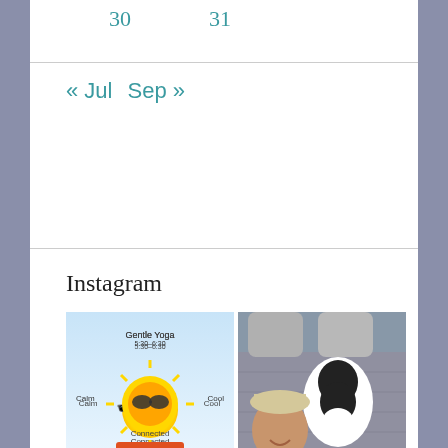30    31
« Jul   Sep »
Instagram
[Figure (photo): Gentle Yoga promotional image with cartoon sun wearing sunglasses, text: Gentle Yoga 5:30-6:30, Calm, Cool, Connected]
[Figure (photo): Person with black and white dog in back seat of car with quilted seat cover]
[Figure (photo): Car interior back seat with quilted cover and dog partially visible]
[Figure (photo): Power Yoga promotional image, text: Power Yoga 5:30 - 6:30]